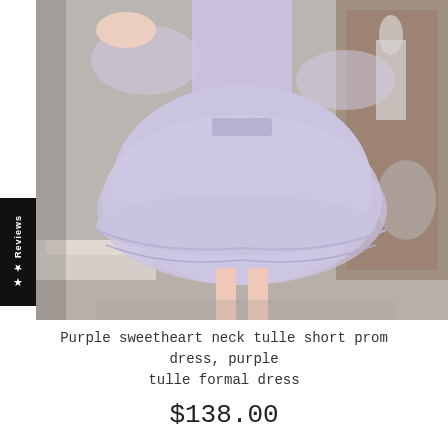[Figure (photo): A woman wearing a lavender/purple tulle short prom dress with sheer long sleeves, spinning or posing in a room with a sofa and decorative items in the background.]
Purple sweetheart neck tulle short prom dress, purple tulle formal dress
$138.00